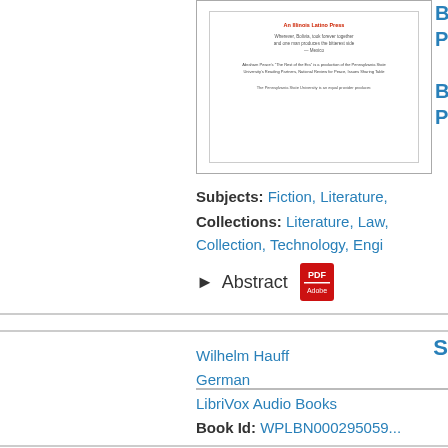[Figure (illustration): Thumbnail image of a book cover/document page showing title text, a quote, and descriptive text about the publication]
Subjects: Fiction, Literature,
Collections: Literature, Law, Collection, Technology, Engi...
▶ Abstract
S...
Wilhelm Hauff
German
LibriVox Audio Books
Book Id: WPLBN000295059...
Mp3 (Audio Book)
Subjects: Fiction, Mystery
Collections: Literature, Säng...
▶ Abstract